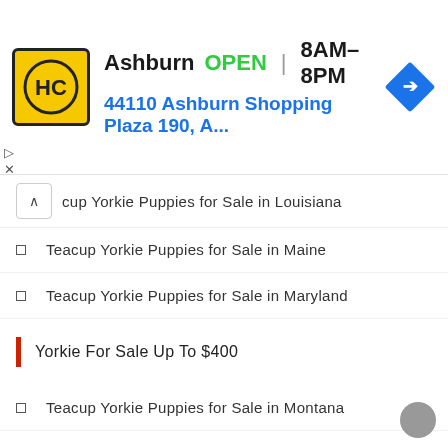[Figure (logo): HC Hardware/store logo in yellow square with black border, circular HC letters]
Ashburn  OPEN | 8AM–8PM
44110 Ashburn Shopping Plaza 190, A...
[Figure (illustration): Blue diamond navigation/direction icon with white right-turn arrow]
cup Yorkie Puppies for Sale in Louisiana
Teacup Yorkie Puppies for Sale in Maine
Teacup Yorkie Puppies for Sale in Maryland
Yorkie For Sale Up To $400
Teacup Yorkie Puppies for Sale in Montana
Teacup Yorkie Puppies for Sale in Nebraska
Teacup Yorkie Puppies for Sale in Nevada
Teacup Yorkie Puppies for Sale in New Hampshire
Teacup Yorkie Puppies for Sale in New Hampshire